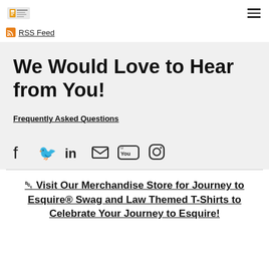RSS Feed
We Would Love to Hear from You!
Frequently Asked Questions
[Figure (other): Social media icons: Facebook, Twitter, LinkedIn, Email, YouTube, Instagram]
🛒 Visit Our Merchandise Store for Journey to Esquire® Swag and Law Themed T-Shirts to Celebrate Your Journey to Esquire!